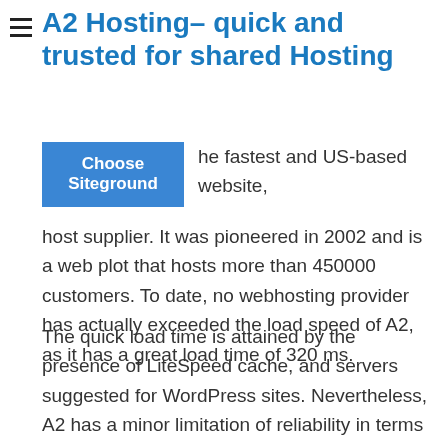A2 Hosting– quick and trusted for shared Hosting
[Figure (other): Blue button labeled 'Choose Siteground']
he fastest and US-based website, host supplier. It was pioneered in 2002 and is a web plot that hosts more than 450000 customers. To date, no webhosting provider has actually exceeded the load speed of A2, as it has a great load time of 320 ms.
The quick load time is attained by the presence of LiteSpeed cache, and servers suggested for WordPress sites. Nevertheless, A2 has a minor limitation of reliability in terms of uptime. For the previous 24 months, the hosting service